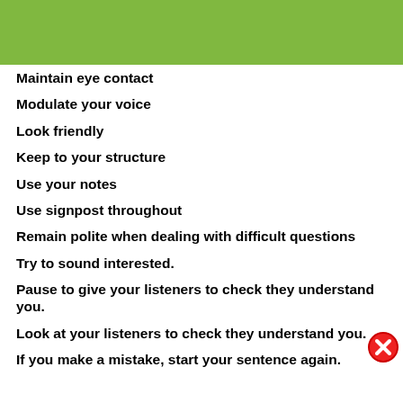[Figure (other): Green header bar at top of page]
Maintain eye contact
Modulate your voice
Look friendly
Keep to your structure
Use your notes
Use signpost throughout
Remain polite when dealing with difficult questions
Try to sound interested.
Pause to give your listeners to check they understand you.
Look at your listeners to check they understand you.
If you make a mistake, start your sentence again.